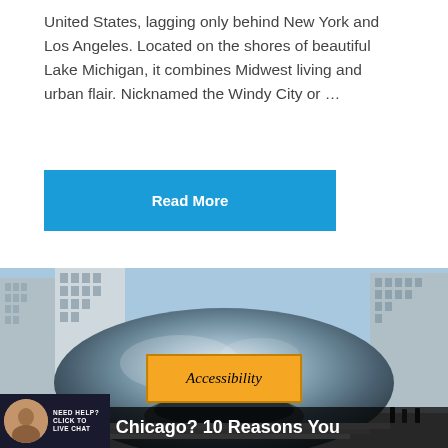United States, lagging only behind New York and Los Angeles. Located on the shores of beautiful Lake Michigan, it combines Midwest living and urban flair. Nicknamed the Windy City or ...
Read More
[Figure (photo): Photo of the Cloud Gate (The Bean) sculpture in Chicago's Millennium Park, with city skyscrapers reflected in the polished steel surface. People visible in the foreground.]
Accessibility
To Chicago? 10 Reasons You